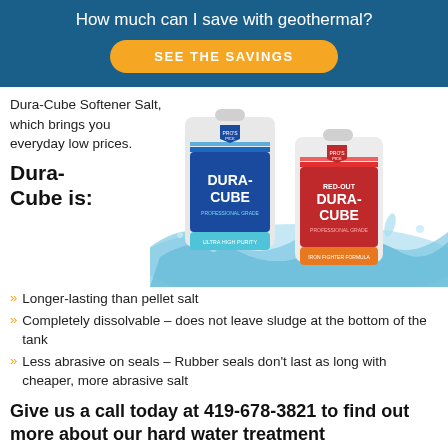How much can I save with geothermal?
SEE THE SAVINGS
Dura-Cube Softener Salt, which brings you everyday low prices.
Dura-Cube is:
[Figure (photo): Two bags of Dura-Cube salt products (regular blue Dura-Cube and Red-Out Dura-Cube) emerging from splashing water]
Longer-lasting than pellet salt
Completely dissolvable – does not leave sludge at the bottom of the tank
Less abrasive on seals – Rubber seals don't last as long with cheaper, more abrasive salt
Give us a call today at 419-678-3821 to find out more about our hard water treatment solutions.